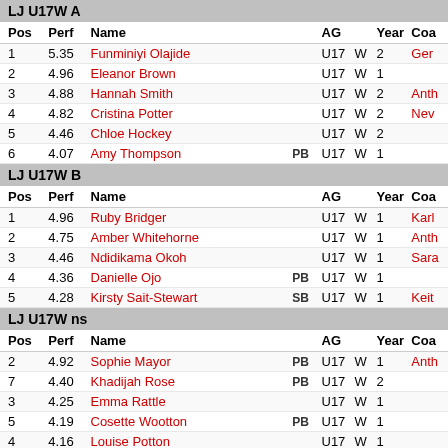LJ U17W A
| Pos | Perf | Name |  | AG |  | Year | Coa |
| --- | --- | --- | --- | --- | --- | --- | --- |
| 1 | 5.35 | Funminiyi Olajide |  | U17 | W | 2 | Ger |
| 2 | 4.96 | Eleanor Brown |  | U17 | W | 1 |  |
| 3 | 4.88 | Hannah Smith |  | U17 | W | 2 | Anth |
| 4 | 4.82 | Cristina Potter |  | U17 | W | 2 | Nev |
| 5 | 4.46 | Chloe Hockey |  | U17 | W | 2 |  |
| 6 | 4.07 | Amy Thompson | PB | U17 | W | 1 |  |
LJ U17W B
| Pos | Perf | Name |  | AG |  | Year | Coa |
| --- | --- | --- | --- | --- | --- | --- | --- |
| 1 | 4.96 | Ruby Bridger |  | U17 | W | 1 | Karl |
| 2 | 4.75 | Amber Whitehorne |  | U17 | W | 1 | Anth |
| 3 | 4.46 | Ndidikama Okoh |  | U17 | W | 1 | Sara |
| 4 | 4.36 | Danielle Ojo | PB | U17 | W | 1 |  |
| 5 | 4.28 | Kirsty Sait-Stewart | SB | U17 | W | 1 | Keit |
LJ U17W ns
| Pos | Perf | Name |  | AG |  | Year | Coa |
| --- | --- | --- | --- | --- | --- | --- | --- |
| 2 | 4.92 | Sophie Mayor | PB | U17 | W | 1 | Anth |
| 7 | 4.40 | Khadijah Rose | PB | U17 | W | 2 |  |
| 3 | 4.25 | Emma Rattle |  | U17 | W | 1 |  |
| 5 | 4.19 | Cosette Wootton | PB | U17 | W | 1 |  |
| 4 | 4.16 | Louise Potton |  | U17 | W | 1 |  |
| 6 | 3.69 | Yasmin Ahmed |  | U17 | W | 2 |  |